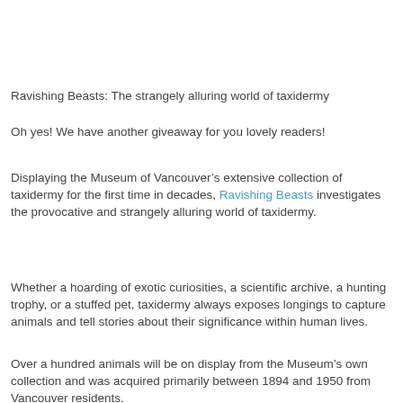Ravishing Beasts: The strangely alluring world of taxidermy
Oh yes! We have another giveaway for you lovely readers!
Displaying the Museum of Vancouver's extensive collection of taxidermy for the first time in decades, Ravishing Beasts investigates the provocative and strangely alluring world of taxidermy.
Whether a hoarding of exotic curiosities, a scientific archive, a hunting trophy, or a stuffed pet, taxidermy always exposes longings to capture animals and tell stories about their significance within human lives.
Over a hundred animals will be on display from the Museum's own collection and was acquired primarily between 1894 and 1950 from Vancouver residents.